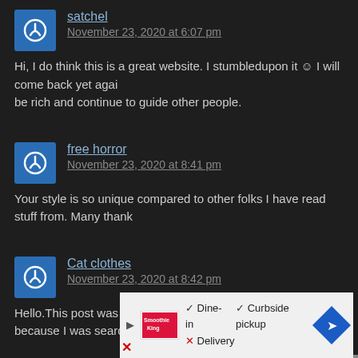satchel
November 23, 2020 at 6:07 pm
Hi, I do think this is a great website. I stumbledupon it © I will come back yet again since I have book-marked it. Money and freedom is the best way to be rich and continue to guide other people.
free horror
November 23, 2020 at 8:41 pm
Your style is so unique compared to other folks I have read stuff from. Many thank
Cat clothes
November 23, 2020 at 8:42 pm
Hello.This post was extremely motivating, particularly because I was searching for
wat kost een joint
November 23, 2020 at 10:07 pm
Great wo... internet. Disc from my s
[Figure (infographic): Ad overlay showing Smoothie King restaurant info: Dine-in checked, Curbside pickup checked, Delivery crossed out. Close X button. Navigation icon on right.]